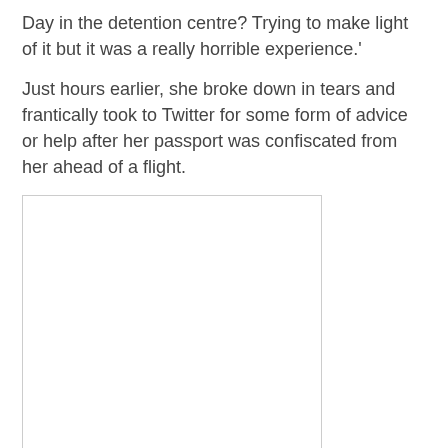Day in the detention centre? Trying to make light of it but it was a really horrible experience.'
Just hours earlier, she broke down in tears and frantically took to Twitter for some form of advice or help after her passport was confiscated from her ahead of a flight.
[Figure (photo): Large embedded image placeholder (photo of tweet or person)]
[Figure (photo): Smaller embedded image placeholder (tweet screenshot)]
Cry for help: Just hours earlier, she broke down in tears and frantically took to Twitter for some form of advice or help after her passport was confiscated from her ahead of a flight
She tweeted: ‘I have been detained at Malé airport for a page missing on my passport. I am very scared I don’t know